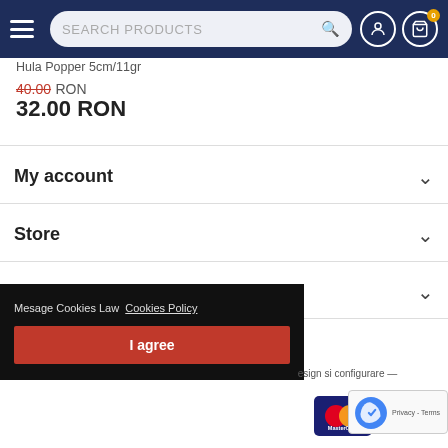SEARCH PRODUCTS
Hula Popper 5cm/11gr
40.00 RON
32.00 RON
My account
Store
Contact us
Mesage Cookies Law  Cookies Policy
I agree
design si configurare —
[Figure (logo): MasterCard payment logo]
[Figure (other): reCAPTCHA widget with Privacy - Terms]